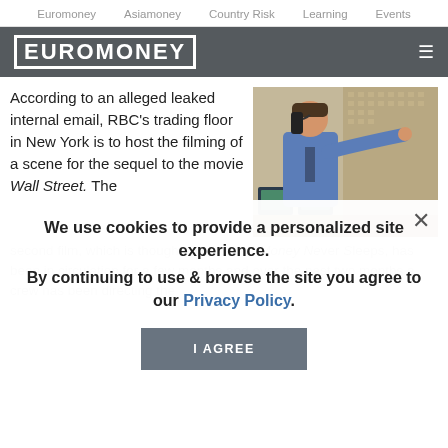Euromoney   Asiamoney   Country Risk   Learning   Events
EUROMONEY
According to an alleged leaked internal email, RBC's trading floor in New York is to host the filming of a scene for the sequel to the movie Wall Street. The second film, which is thought to be called Money Never Sleeps, has been in production for a few months and over the past two months a crew has been directing the ...
[Figure (photo): Man in blue shirt on phone on a trading floor, pointing, with computer screens in background]
We use cookies to provide a personalized site experience. By continuing to use & browse the site you agree to our Privacy Policy.
Douglas, returns to warn everyone about the forthcoming crash (of 2008). Along the way Gekko helps Shia LaBoeuf, playing a Wall Street trader, take revenge on a murderous hedge fund manager, in return for reconciliation with Gekko's estranged daughter whom LaBoeuf is dating. Charlie Sheen and James...